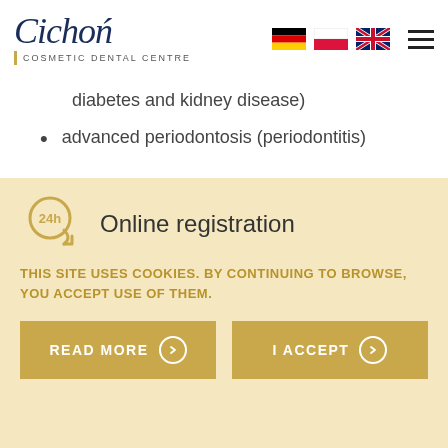[Figure (logo): Cichoń Cosmetic Dental Centre logo with script text and vertical gold bar]
diabetes and kidney disease)
advanced periodontosis (periodontitis)
[Figure (infographic): 24h online registration icon with clock/arrow symbol]
Online registration
THIS SITE USES COOKIES. BY CONTINUING TO BROWSE, YOU ACCEPT USE OF THEM.
READ MORE
I ACCEPT